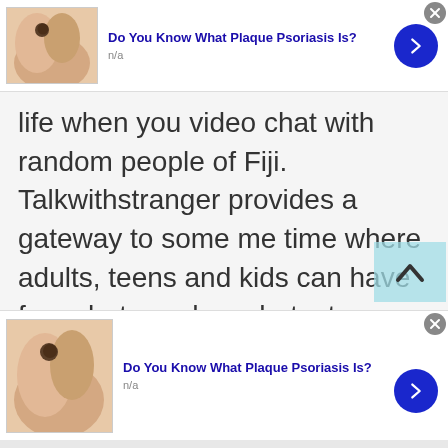[Figure (screenshot): Top advertisement bar with skin condition image, title 'Do You Know What Plaque Psoriasis Is?', n/a text, blue arrow button, and close button]
life when you video chat with random people of Fiji. Talkwithstranger provides a gateway to some me time where adults, teens and kids can have free chat, random chat, stranger chat whether text chat or video chat with anyone around the
[Figure (screenshot): Bottom advertisement bar with skin condition image, title 'Do You Know What Plaque Psoriasis Is?', n/a text, blue arrow button, and close button]